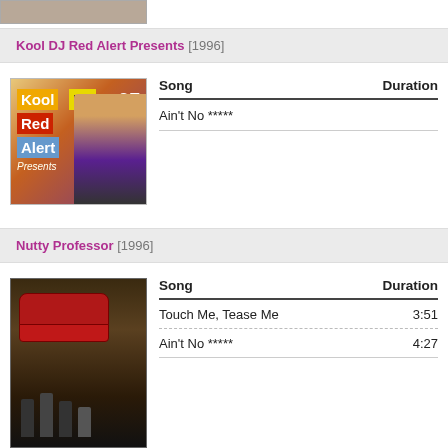[Figure (photo): Partial album art image at top, cropped]
Kool DJ Red Alert Presents [1996]
[Figure (photo): Album cover for Kool DJ Red Alert Presents showing DJ with colorful text labels]
| Song | Duration |
| --- | --- |
| Ain't No ***** |  |
Nutty Professor [1996]
[Figure (photo): Movie/album cover for Nutty Professor showing street scene with figures and car]
| Song | Duration |
| --- | --- |
| Touch Me, Tease Me | 3:51 |
| Ain't No ***** | 4:27 |